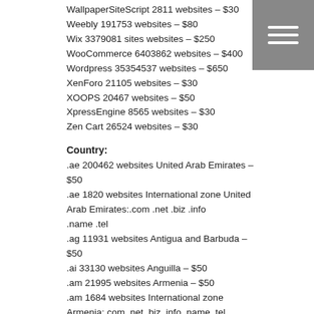WallpaperSiteScript 2811 websites – $30
Weebly 191753 websites – $80
Wix 3379081 sites websites – $250
WooCommerce 6403862 websites – $400
Wordpress 35354537 websites – $650
XenForo 21105 websites – $30
XOOPS 20467 websites – $50
XpressEngine 8565 websites – $30
Zen Cart 26524 websites – $30
Country:
.ae 200462 websites United Arab Emirates – $50
.ae 1820 websites International zone United Arab Emirates:.com .net .biz .info .name .tel
.ag 11931 websites Antigua and Barbuda – $50
.ai 33130 websites Anguilla – $50
.am 21995 websites Armenia – $50
.am 1684 websites International zone Armenia:.com .net .biz .info .name .tel
.ar 782608 websites Argentine Republic – $80
.ar 75496 websites International zone Argentina:.com .net .biz .info .name .tel .mobi .asia – $50
.ar.com 135 websites – $30